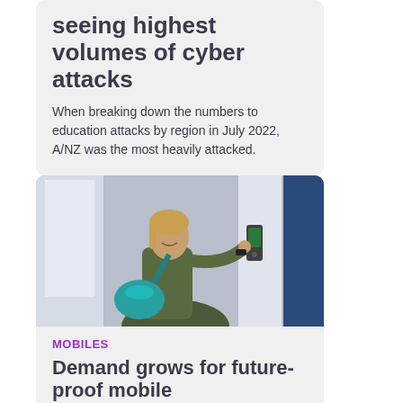seeing highest volumes of cyber attacks
When breaking down the numbers to education attacks by region in July 2022, A/NZ was the most heavily attacked.
[Figure (photo): Woman with teal bag tapping a door access control panel in a corridor]
MOBILES
Demand grows for future-proof mobile